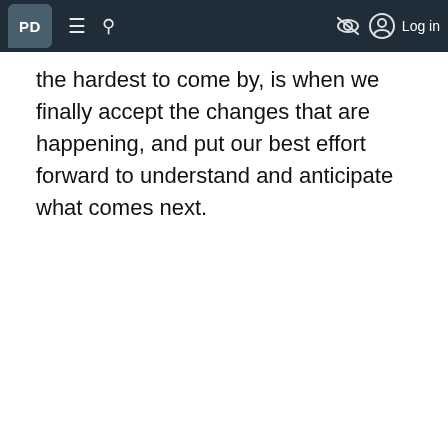PD [logo] [hamburger menu] [search] [hide icon] Log in
the hardest to come by, is when we finally accept the changes that are happening, and put our best effort forward to understand and anticipate what comes next.